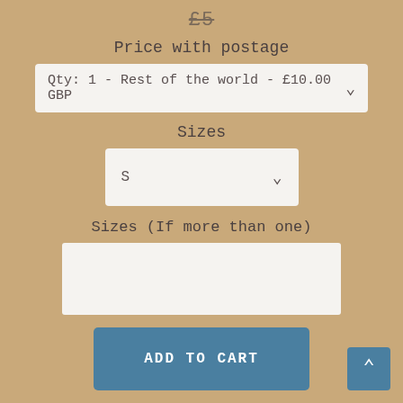£5
Price with postage
Qty: 1 - Rest of the world - £10.00 GBP
Sizes
S
Sizes (If more than one)
ADD TO CART